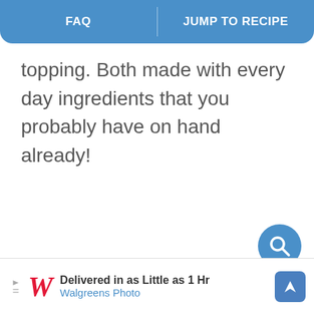FAQ | JUMP TO RECIPE
topping. Both made with every day ingredients that you probably have on hand already!
[Figure (other): Circular blue search button with magnifying glass icon]
[Figure (other): Walgreens Photo advertisement banner: Delivered in as Little as 1 Hr, Walgreens Photo]